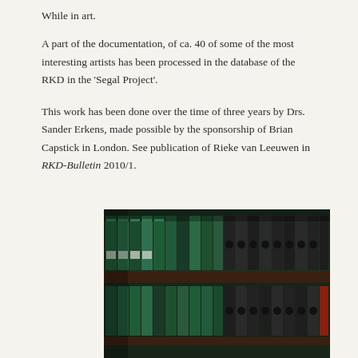While in art.
A part of the documentation, of ca. 40 of some of the most interesting artists has been processed in the database of the RKD in the ‘Segal Project’.
This work has been done over the time of three years by Drs. Sander Erkens, made possible by the sponsorship of Brian Capstick in London. See publication of Rieke van Leeuwen in RKD-Bulletin 2010/1.
[Figure (photo): Photo of archive shelves filled with binders/folders in dark green, black, and other colors, viewed from below at an angle.]